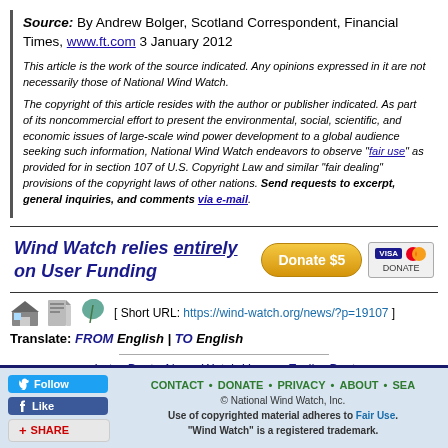Source: By Andrew Bolger, Scotland Correspondent, Financial Times, www.ft.com 3 January 2012
This article is the work of the source indicated. Any opinions expressed in it are not necessarily those of National Wind Watch.
The copyright of this article resides with the author or publisher indicated. As part of its noncommercial effort to present the environmental, social, scientific, and economic issues of large-scale wind power development to a global audience seeking such information, National Wind Watch endeavors to observe "fair use" as provided for in section 107 of U.S. Copyright Law and similar "fair dealing" provisions of the copyright laws of other nations. Send requests to excerpt, general inquiries, and comments via e-mail.
[Figure (infographic): Wind Watch relies entirely on User Funding donation banner with Donate $5 button and Visa/Mastercard logos]
[ Short URL: https://wind-watch.org/news/?p=19107 ]
Translate: FROM English | TO English
« Later Post • News Watch Home • Earlier Post »
CONTACT • DONATE • PRIVACY • ABOUT • SEA... © National Wind Watch, Inc. Use of copyrighted material adheres to Fair Use. "Wind Watch" is a registered trademark.